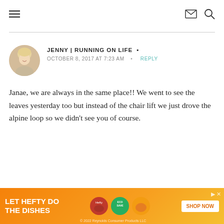Navigation header with hamburger menu, mail icon, and search icon
JENNY | RUNNING ON LIFE  •
OCTOBER 8, 2017 AT 7:23 AM  •  REPLY
Janae, we are always in the same place!! We went to see the leaves yesterday too but instead of the chair lift we just drove the alpine loop so we didn't see you of course.
[Figure (other): Advertisement banner: LET HEFTY DO THE DISHES with product images and SHOP NOW button. © 2022 Reynolds Consumer Products LLC]